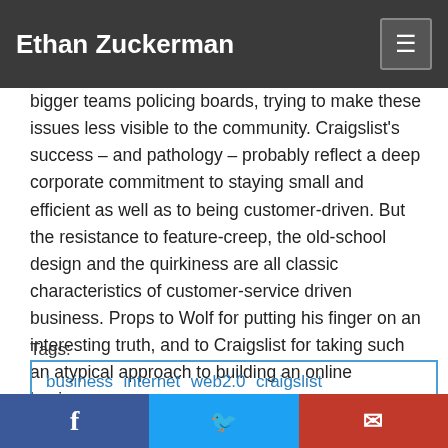Ethan Zuckerman
bigger teams policing boards, trying to make these issues less visible to the community. Craigslist's success – and pathology – probably reflect a deep corporate commitment to staying small and efficient as well as to being customer-driven. But the resistance to feature-creep, the old-school design and the quirkiness are all classic characteristics of customer-service driven business. Props to Wolf for putting his finger on an interesting truth, and to Craigslist for taking such an atypical approach to building an online business.
Tags:
business internet web2.0 craigslist craignewmark wired garywolf